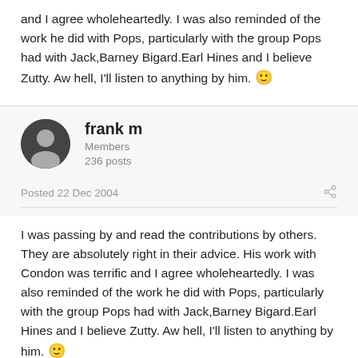and I agree wholeheartedly. I was also reminded of the work he did with Pops, particularly with the group Pops had with Jack,Barney Bigard.Earl Hines and I believe Zutty. Aw hell, I'll listen to anything by him. 🙂
frank m
Members
236 posts
Posted 22 Dec 2004
I was passing by and read the contributions by others. They are absolutely right in their advice. His work with Condon was terrific and I agree wholeheartedly. I was also reminded of the work he did with Pops, particularly with the group Pops had with Jack,Barney Bigard.Earl Hines and I believe Zutty. Aw hell, I'll listen to anything by him. 🙂